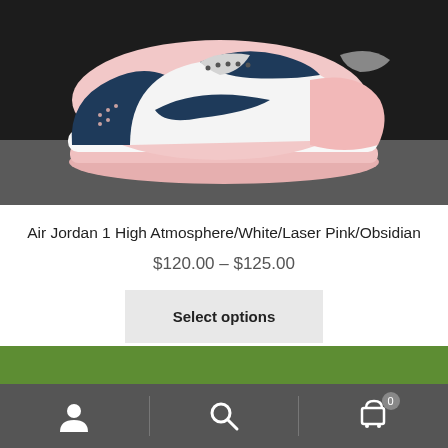[Figure (photo): Air Jordan 1 High sneaker in Atmosphere/White/Laser Pink/Obsidian colorway — navy blue, white, and pink leather upper shown from the side on a dark background]
Air Jordan 1 High Atmosphere/White/Laser Pink/Obsidian
$120.00 – $125.00
Select options
[Figure (photo): Partial view of another product image showing green background — partially visible at bottom of page]